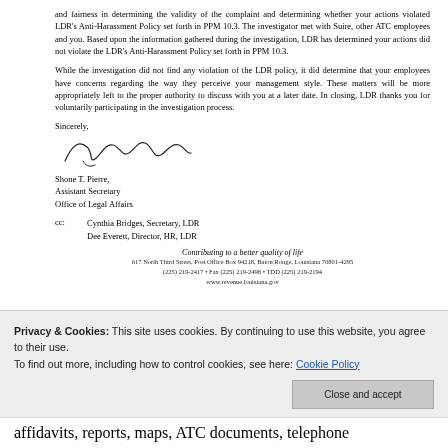and fairness in determining the validity of the complaint and determining whether your actions violated LDR's Anti-Harassment Policy set forth in PPM 10.3. The investigator met with Suire, other ATC employees and you. Based upon the information gathered during the investigation, LDR has determined your actions did not violate the LDR's Anti-Harassment Policy set forth in PPM 10.3.
While the investigation did not find any violation of the LDR policy, it did determine that your employees have concerns regarding the way they perceive your management style. These matters will be more appropriately left to the proper authority to discuss with you at a later date. In closing, LDR thanks you for voluntarily participating in the investigation process.
Sincerely,
[Figure (illustration): Handwritten signature of Shone T. Pierre]
Shone T. Pierre,
Assistant Secretary
Office of Legal Affairs
cc: Cynthia Bridges, Secretary, LDR
    Dee Everett, Director, HR, LDR
Contributing to a better quality of life
617 North Third Street, Post Office Box 94218, Baton Rouge, Louisiana 70801-4295
(225) 219-2417 • Fax (225) 219-2498 • TDD (225) 219-2194
www.revenue.louisiana.gov
Privacy & Cookies: This site uses cookies. By continuing to use this website, you agree to their use.
To find out more, including how to control cookies, see here: Cookie Policy
Close and accept
affidavits, reports, maps, ATC documents, telephone